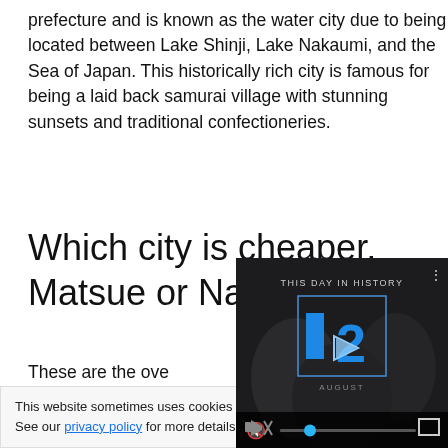prefecture and is known as the water city due to being located between Lake Shinji, Lake Nakaumi, and the Sea of Japan. This historically rich city is famous for being a laid back samurai village with stunning sunsets and traditional confectioneries.
Which city is cheaper, Matsue or Nagoya?
These are the overall costs for the two destinations
This website sometimes uses cookies for tracking purposes. See our privacy policy for more details.
[Figure (screenshot): Video overlay showing 'THIS DAY IN HISTORY' with a blue logo showing '12 AUGUST', a play button, video controls with mute icon, progress bar, and fullscreen button on a dark background.]